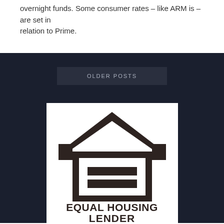overnight funds. Some consumer rates – like ARM is – are set in relation to Prime.
OLDER POSTS
[Figure (logo): Equal Housing Lender logo — a house outline with an equals sign inside, bold text reading EQUAL HOUSING LENDER below]